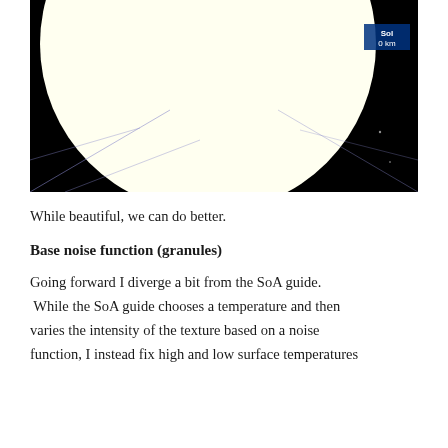[Figure (screenshot): A space simulation screenshot showing a large white circle (the Sun/Sol) against a black background with a label 'Sol 0 km' in the upper right corner and faint blue-purple grid lines in the corners.]
While beautiful, we can do better.
Base noise function (granules)
Going forward I diverge a bit from the SoA guide.  While the SoA guide chooses a temperature and then varies the intensity of the texture based on a noise function, I instead fix high and low surface temperatures